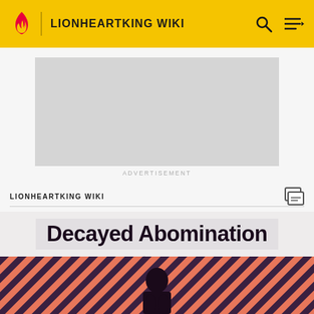LIONHEARTKING WIKI
[Figure (screenshot): Gray advertisement placeholder box]
ADVERTISEMENT
LIONHEARTKING WIKI
Decayed Abomination
EDIT
[Figure (photo): Bottom strip showing a person with dark hair against a coral/salmon diagonal striped background in dark and pink tones]